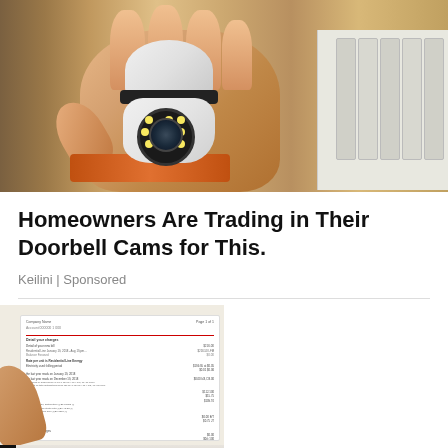[Figure (photo): A hand holding a small white security camera (dome/PTZ style) with infrared LEDs visible on the lens, shelves in background with packaged products]
Homeowners Are Trading in Their Doorbell Cams for This.
Keilini | Sponsored
[Figure (photo): Split image: left side shows a utility/electricity bill document with red line and itemized charges; right side shows close-up of an elderly woman's face with blue eyes and white hair, looking distressed]
Keilini | Sponsored